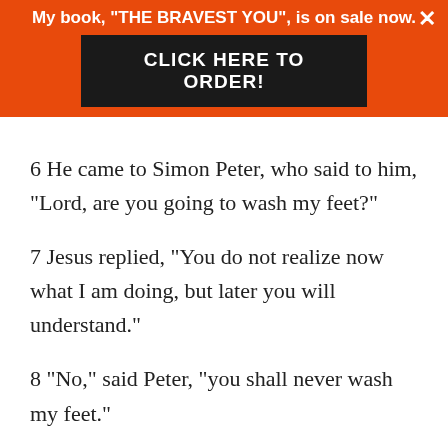My book, "THE BRAVEST YOU", is on sale now.
CLICK HERE TO ORDER!
6 He came to Simon Peter, who said to him, “Lord, are you going to wash my feet?”
7 Jesus replied, “You do not realize now what I am doing, but later you will understand.”
8 “No,” said Peter, “you shall never wash my feet.”
Jesus answered, “Unless I wash you, you